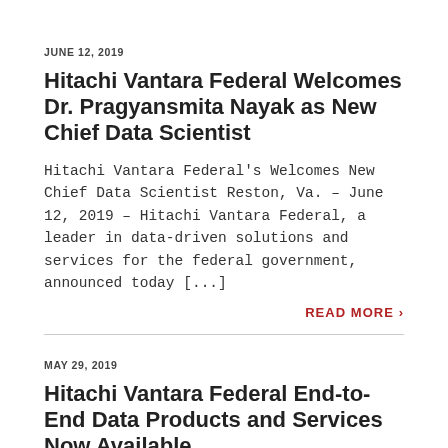JUNE 12, 2019
Hitachi Vantara Federal Welcomes Dr. Pragyansmita Nayak as New Chief Data Scientist
Hitachi Vantara Federal's Welcomes New Chief Data Scientist Reston, Va. – June 12, 2019 – Hitachi Vantara Federal, a leader in data-driven solutions and services for the federal government, announced today [...]
READ MORE >
MAY 29, 2019
Hitachi Vantara Federal End-to-End Data Products and Services Now Available